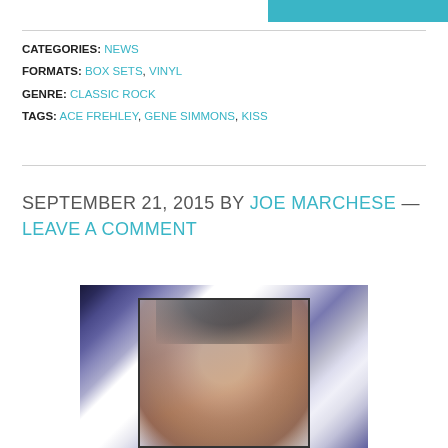CATEGORIES: NEWS
FORMATS: BOX SETS, VINYL
GENRE: CLASSIC ROCK
TAGS: ACE FREHLEY, GENE SIMMONS, KISS
SEPTEMBER 21, 2015 BY JOE MARCHESE — LEAVE A COMMENT
[Figure (photo): A portrait photograph showing a man's face, appearing to be a distorted or multi-exposure style photo with reflective/mirrored effects. The image has dark borders and shows the subject with dark hair looking directly at camera.]